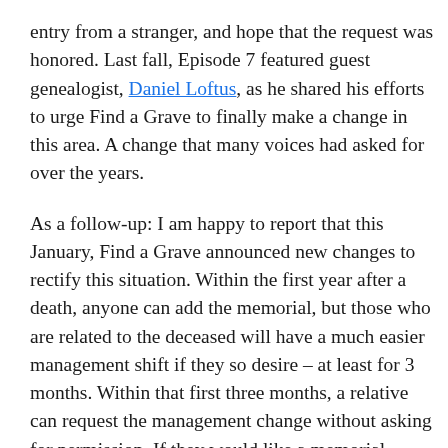entry from a stranger, and hope that the request was honored. Last fall, Episode 7 featured guest genealogist, Daniel Loftus, as he shared his efforts to urge Find a Grave to finally make a change in this area. A change that many voices had asked for over the years.
As a follow-up: I am happy to report that this January, Find a Grave announced new changes to rectify this situation. Within the first year after a death, anyone can add the memorial, but those who are related to the deceased will have a much easier management shift if they so desire – at least for 3 months. Within that first three months, a relative can request the management change without asking for permission. If they would like a memorial transferred to them after the three month mark, the request for management process remains the same as it has been all these years. For